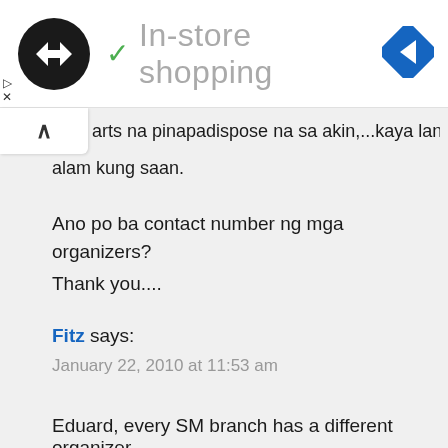✓ In-store shopping
arts na pinapadispose na sa akin,...kaya lang di ko alam kung saan.
Ano po ba contact number ng mga organizers?
Thank you....
Fitz says:
January 22, 2010 at 11:53 am
Eduard, every SM branch has a different organizer,